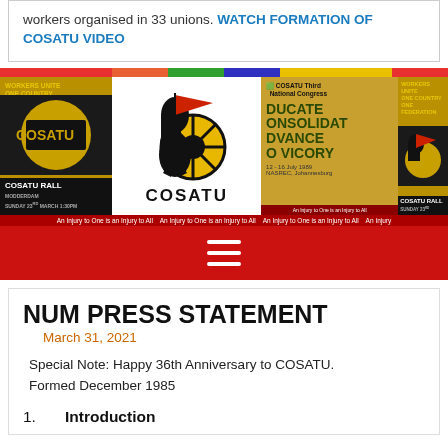workers organised in 33 unions. WATCH FORMATION OF COSATU VIDEO
[Figure (photo): COSATU banner image collage showing rally posters, COSATU logo with fist and wheel, and Third National Congress poster]
NUM PRESS STATEMENT
March 31, 2021
Special Note: Happy 36th Anniversary to COSATU. Formed December 1985
1.     Introduction